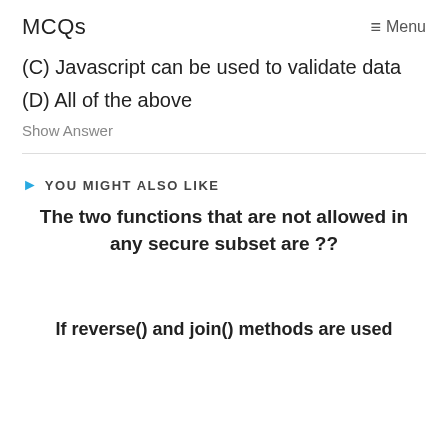MCQs   ≡ Menu
(C) Javascript can be used to validate data
(D) All of the above
Show Answer
YOU MIGHT ALSO LIKE
The two functions that are not allowed in any secure subset are ??
If reverse() and join() methods are used